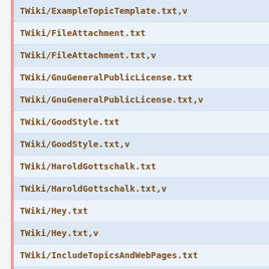TWiki/ExampleTopicTemplate.txt,v
TWiki/FileAttachment.txt
TWiki/FileAttachment.txt,v
TWiki/GnuGeneralPublicLicense.txt
TWiki/GnuGeneralPublicLicense.txt,v
TWiki/GoodStyle.txt
TWiki/GoodStyle.txt,v
TWiki/HaroldGottschalk.txt
TWiki/HaroldGottschalk.txt,v
TWiki/Hey.txt
TWiki/Hey.txt,v
TWiki/IncludeTopicsAndWebPages.txt
TWiki/IncludeTopicsAndWebPages.txt,v
TWiki/InterwikiPlugin.txt